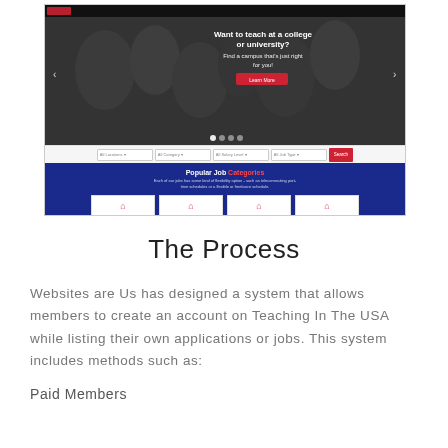[Figure (screenshot): Screenshot of a teaching jobs website showing a hero banner with people in a meeting, text 'Want to teach at a college or university? Find a campus that's just right for you!', a search bar with dropdowns, a dark blue 'Popular Job Categories' section with red house icons in category cards.]
The Process
Websites are Us has designed a system that allows members to create an account on Teaching In The USA while listing their own applications or jobs. This system includes methods such as:
Paid Members